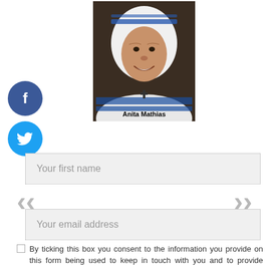[Figure (photo): Portrait photo of an elderly nun wearing a white habit with blue stripes, smiling, with a cross necklace. Caption reads 'Anita Mathias' at the bottom of the image.]
[Figure (illustration): Facebook social share button - dark blue circle with white lowercase f]
[Figure (illustration): Twitter social share button - light blue circle with white bird icon]
Your first name
Your email address
By ticking this box you consent to the information you provide on this form being used to keep in touch with you and to provide updates. View our Privacy Policy.